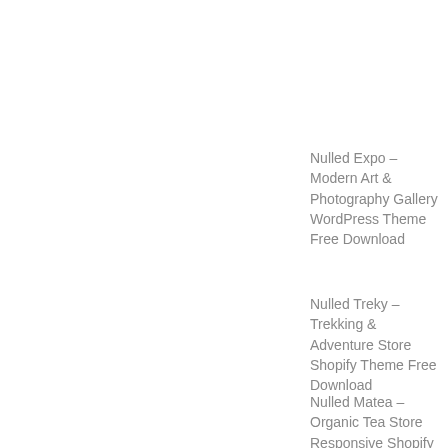Nulled Expo – Modern Art & Photography Gallery WordPress Theme Free Download
Nulled Treky – Trekking & Adventure Store Shopify Theme Free Download
Nulled Matea – Organic Tea Store Responsive Shopify 2.0 Theme Free Download